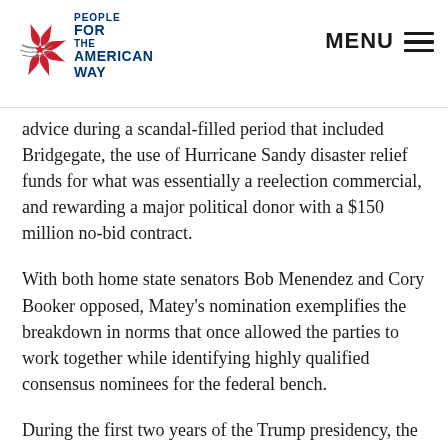People For the American Way | MENU
advice during a scandal-filled period that included Bridgegate, the use of Hurricane Sandy disaster relief funds for what was essentially a reelection commercial, and rewarding a major political donor with a $150 million no-bid contract.
With both home state senators Bob Menendez and Cory Booker opposed, Matey's nomination exemplifies the breakdown in norms that once allowed the parties to work together while identifying highly qualified consensus nominees for the federal bench.
During the first two years of the Trump presidency, the Judiciary Committee held hearings for an unprecedented number of circuit court nominees